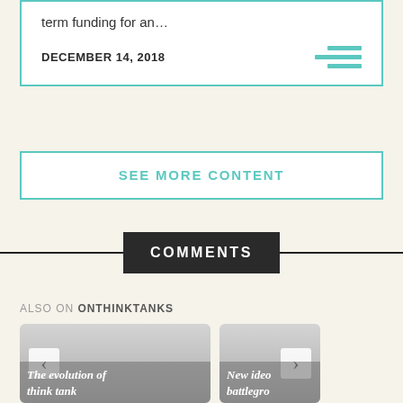term funding for an…
DECEMBER 14, 2018
SEE MORE CONTENT
COMMENTS
ALSO ON ONTHINKTANKS
[Figure (screenshot): Thumbnail card with left arrow chevron and title 'The evolution of think tank']
[Figure (screenshot): Thumbnail card with right arrow chevron and partial title 'New ideo battlegro']